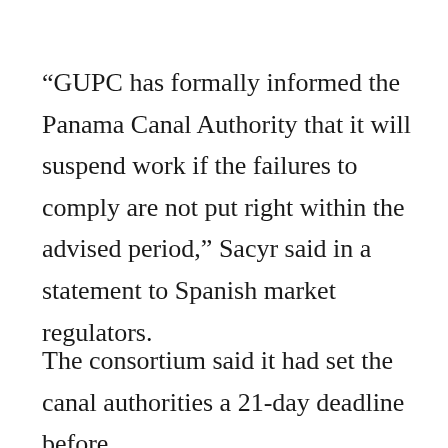“GUPC has formally informed the Panama Canal Authority that it will suspend work if the failures to comply are not put right within the advised period,” Sacyr said in a statement to Spanish market regulators.
The consortium said it had set the canal authorities a 21-day deadline before